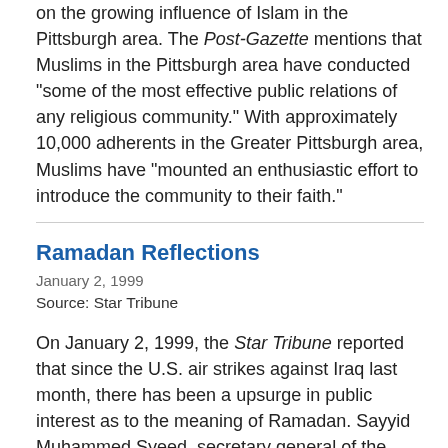on the growing influence of Islam in the Pittsburgh area. The Post-Gazette mentions that Muslims in the Pittsburgh area have conducted "some of the most effective public relations of any religious community." With approximately 10,000 adherents in the Greater Pittsburgh area, Muslims have "mounted an enthusiastic effort to introduce the community to their faith."
Ramadan Reflections
January 2, 1999
Source: Star Tribune
On January 2, 1999, the Star Tribune reported that since the U.S. air strikes against Iraq last month, there has been a upsurge in public interest as to the meaning of Ramadan. Sayyid Muhammed Syeed, secretary general of the Islamic Society of America near Indianapolis, says he has been